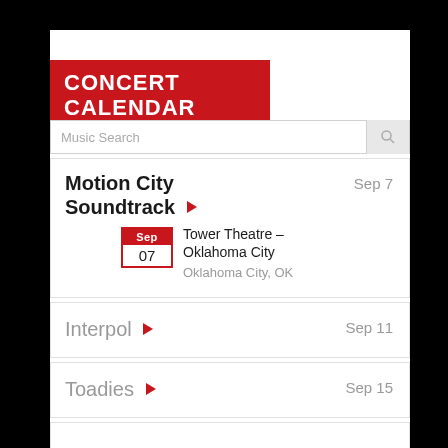CONCERT CALENDAR
Music Search
Motion City Soundtrack
Tower Theatre - Oklahoma City
Oklahoma City, OK
Interpol
Toadies